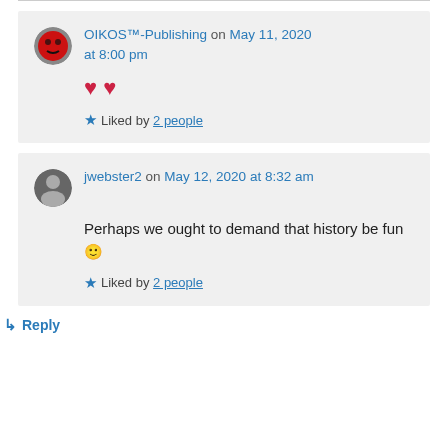OIKOS™-Publishing on May 11, 2020 at 8:00 pm
❤️❤️
★ Liked by 2 people
jwebster2 on May 12, 2020 at 8:32 am
Perhaps we ought to demand that history be fun 🙂
★ Liked by 2 people
↳ Reply